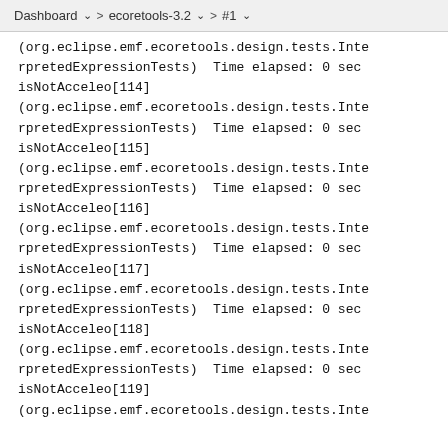Dashboard > ecoretools-3.2 > #1
(org.eclipse.emf.ecoretools.design.tests.InterpretedExpressionTests)  Time elapsed: 0 sec
isNotAcceleo[114]
(org.eclipse.emf.ecoretools.design.tests.InterpretedExpressionTests)  Time elapsed: 0 sec
isNotAcceleo[115]
(org.eclipse.emf.ecoretools.design.tests.InterpretedExpressionTests)  Time elapsed: 0 sec
isNotAcceleo[116]
(org.eclipse.emf.ecoretools.design.tests.InterpretedExpressionTests)  Time elapsed: 0 sec
isNotAcceleo[117]
(org.eclipse.emf.ecoretools.design.tests.InterpretedExpressionTests)  Time elapsed: 0 sec
isNotAcceleo[118]
(org.eclipse.emf.ecoretools.design.tests.InterpretedExpressionTests)  Time elapsed: 0 sec
isNotAcceleo[119]
(org.eclipse.emf.ecoretools.design.tests.Inte